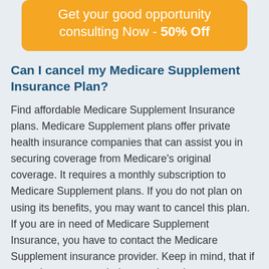Get your good opportunity consulting Now - 50% Off
Can I cancel my Medicare Supplement Insurance Plan?
Find affordable Medicare Supplement Insurance plans. Medicare Supplement plans offer private health insurance companies that can assist you in securing coverage from Medicare's original coverage. It requires a monthly subscription to Medicare Supplement plans. If you do not plan on using its benefits, you may want to cancel this plan. If you are in need of Medicare Supplement Insurance, you have to contact the Medicare Supplement insurance provider. Keep in mind, that if your plan was canceled or terminated, your